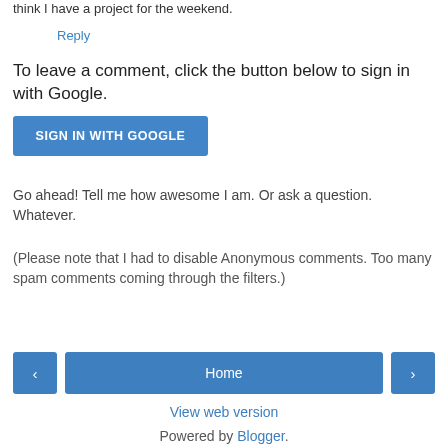think I have a project for the weekend.
Reply
To leave a comment, click the button below to sign in with Google.
[Figure (other): Blue 'SIGN IN WITH GOOGLE' button]
Go ahead! Tell me how awesome I am. Or ask a question. Whatever.
(Please note that I had to disable Anonymous comments. Too many spam comments coming through the filters.)
‹  Home  ›
View web version
Powered by Blogger.